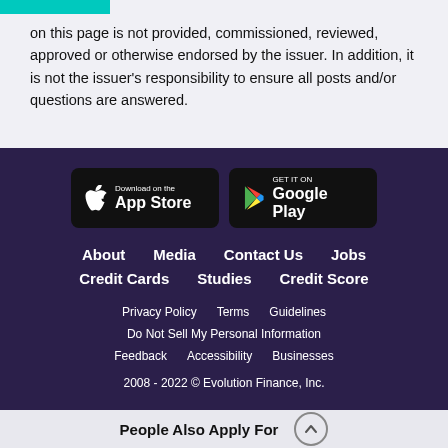on this page is not provided, commissioned, reviewed, approved or otherwise endorsed by the issuer. In addition, it is not the issuer's responsibility to ensure all posts and/or questions are answered.
[Figure (other): App Store and Google Play download buttons]
About   Media   Contact Us   Jobs   Credit Cards   Studies   Credit Score
Privacy Policy   Terms   Guidelines   Do Not Sell My Personal Information   Feedback   Accessibility   Businesses
2008 - 2022 © Evolution Finance, Inc.
People Also Apply For